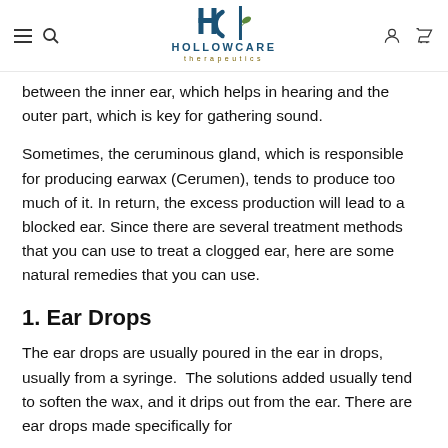HOLLOWCARE Therapeutics
between the inner ear, which helps in hearing and the outer part, which is key for gathering sound.
Sometimes, the ceruminous gland, which is responsible for producing earwax (Cerumen), tends to produce too much of it. In return, the excess production will lead to a blocked ear. Since there are several treatment methods that you can use to treat a clogged ear, here are some natural remedies that you can use.
1. Ear Drops
The ear drops are usually poured in the ear in drops, usually from a syringe.  The solutions added usually tend to soften the wax, and it drips out from the ear. There are ear drops made specifically for